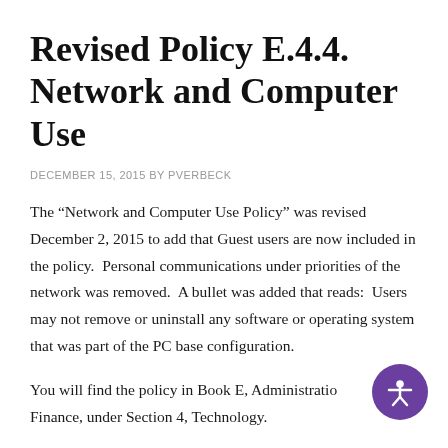Revised Policy E.4.4. Network and Computer Use
DECEMBER 15, 2015 BY PVERBECK
The “Network and Computer Use Policy” was revised December 2, 2015 to add that Guest users are now included in the policy.  Personal communications under priorities of the network was removed.  A bullet was added that reads:  Users may not remove or uninstall any software or operating system that was part of the PC base configuration.
You will find the policy in Book E, Administration, Finance, under Section 4, Technology.